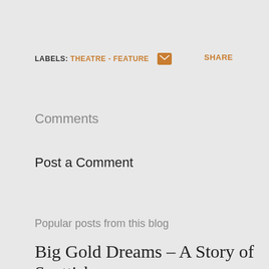LABELS: THEATRE - FEATURE  [email icon]  SHARE
Comments
Post a Comment
Popular posts from this blog
Big Gold Dreams – A Story of Scottish Independence, Music 1977-1989